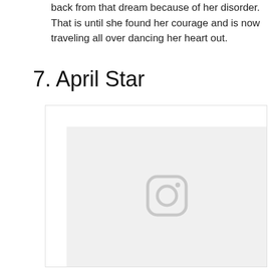back from that dream because of her disorder. That is until she found her courage and is now traveling all over dancing her heart out.
7. April Star
[Figure (photo): A placeholder image box with an Instagram icon in the center, shown as a light gray square with a white border box around it.]